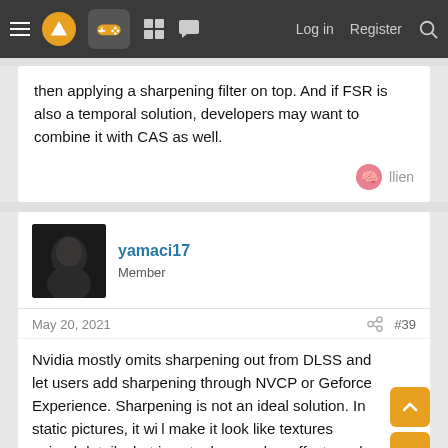Navigation bar with menu, logo, controller icon, grid icon, chat icon, Log in, Register, Search
then applying a sharpening filter on top. And if FSR is also a temporal solution, developers may want to combine it with CAS as well.
llien
yamaci17
Member
May 20, 2021
#39
Nvidia mostly omits sharpening out from DLSS and let users add sharpening through NVCP or Geforce Experience. Sharpening is not an ideal solution. In static pictures, it will make it look like textures gained details, but in actual gameplay, effect can be jarring and usually generate the feeling of "oversharpened" picture. If you want the same effect, you can practically use Nvidia's own sharpening filter